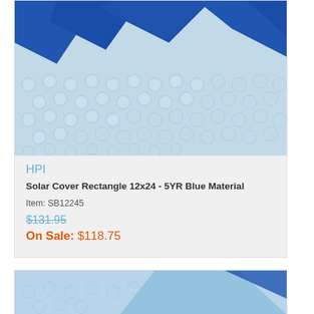[Figure (photo): Close-up photo of a blue solar pool cover with bubble texture and solid blue triangular panels, viewed from above.]
HPI
Solar Cover Rectangle 12x24 - 5YR Blue Material
Item: SB12245
$131.95
On Sale: $118.75
[Figure (photo): Partial view of another solar pool cover product at the bottom of the page.]